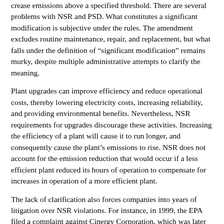…pplicable to new projects and major modifications that will not increase emissions above a specified threshold. There are several problems with NSR and PSD. What constitutes a significant modification is subjective under the rules. The amendment excludes routine maintenance, repair, and replacement, but what falls under the definition of "significant modification" remains murky, despite multiple administrative attempts to clarify the meaning.
Plant upgrades can improve efficiency and reduce operational costs, thereby lowering electricity costs, increasing reliability, and providing environmental benefits. Nevertheless, NSR requirements for upgrades discourage these activities. Increasing the efficiency of a plant will cause it to run longer, and consequently cause the plant's emissions to rise. NSR does not account for the emission reduction that would occur if a less efficient plant reduced its hours of operation to compensate for increases in operation of a more efficient plant.
The lack of clarification also forces companies into years of litigation over NSR violations. For instance, in 1999, the EPA filed a complaint against Cinergy Corporation, which was later bought by Duke Energy, claiming that modifications to two of the plants at the Gallagher Generating Station in New Albany, Indiana, violated the NSR and PSD "nonattainment" provisions of the Clean Air Act (CAA). Duke maintained that the upgrades were part of the routine